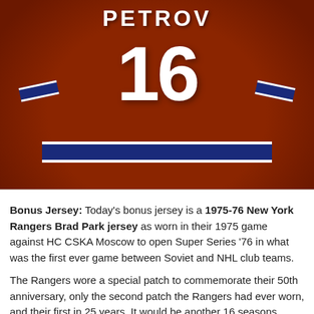[Figure (photo): Back view of a hockey player wearing a dark red jersey with number 16 and the name PETROV, with blue and white stripes on the sleeves and bottom hem.]
Bonus Jersey: Today's bonus jersey is a 1975-76 New York Rangers Brad Park jersey as worn in their 1975 game against HC CSKA Moscow to open Super Series '76 in what was the first ever game between Soviet and NHL club teams.
The Rangers wore a special patch to commemorate their 50th anniversary, only the second patch the Rangers had ever worn, and their first in 25 years. It would be another 16 seasons before the Rangers would wear another, that in honor of the NHL 75th anniversary in 1991-92.